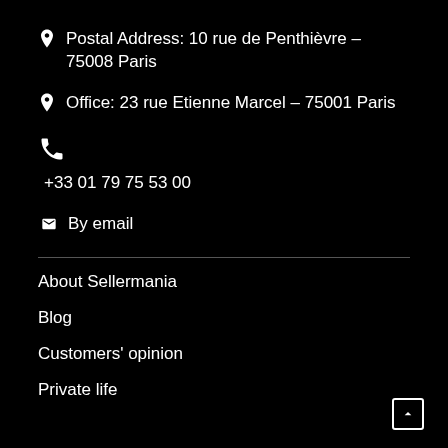📍 Postal Address: 10 rue de Penthièvre – 75008 Paris
📍 Office: 23 rue Etienne Marcel – 75001 Paris
☎ +33 01 79 75 53 00
✉ By email
About Sellermania
Blog
Customers' opinion
Private life